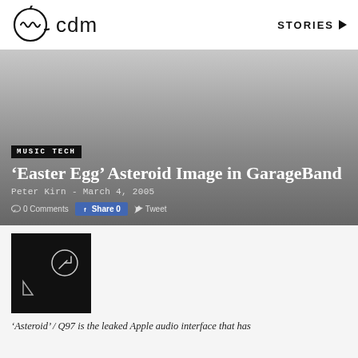cdm — STORIES
[Figure (screenshot): CDM logo: circular icon with stylized waveform inside, next to 'cdm' text]
MUSIC TECH
'Easter Egg' Asteroid Image in GarageBand
Peter Kirn - March 4, 2005
0 Comments  Share 0  Tweet
[Figure (screenshot): Black square thumbnail showing GarageBand easter egg asteroid image with stylized letter A and circular icon on dark background]
'Asteroid' / Q97 is the leaked Apple audio interface that has